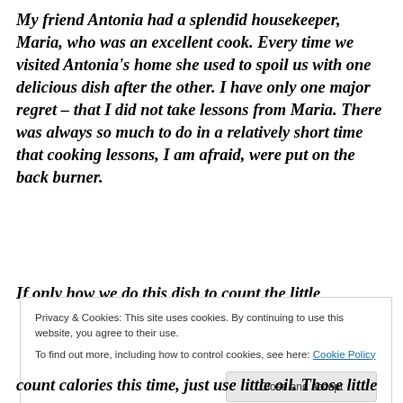My friend Antonia had a splendid housekeeper, Maria, who was an excellent cook. Every time we visited Antonia's home she used to spoil us with one delicious dish after the other. I have only one major regret – that I did not take lessons from Maria. There was always so much to do in a relatively short time that cooking lessons, I am afraid, were put on the back burner.
If only how we do this dish to count the little
Privacy & Cookies: This site uses cookies. By continuing to use this website, you agree to their use. To find out more, including how to control cookies, see here: Cookie Policy
count calories this time, just use little oil. Those little